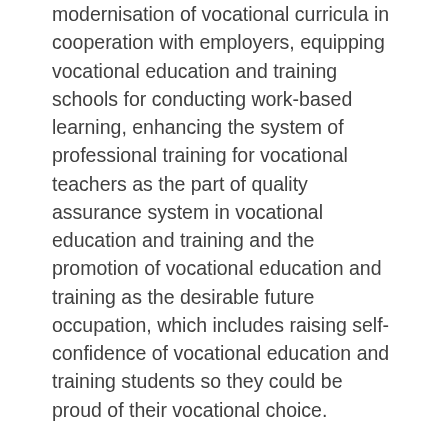modernisation of vocational curricula in cooperation with employers, equipping vocational education and training schools for conducting work-based learning, enhancing the system of professional training for vocational teachers as the part of quality assurance system in vocational education and training and the promotion of vocational education and training as the desirable future occupation, which includes raising self-confidence of vocational education and training students so they could be proud of their vocational choice.
Also in the panel discussion, Mr Dragutin Ranogajec, the President of the Croatian Chamber of Trades and Crafts, participated and discussed about challenges in the vocational education and training from employers' perspective.
Mr Ranogajec emphasised the importance of